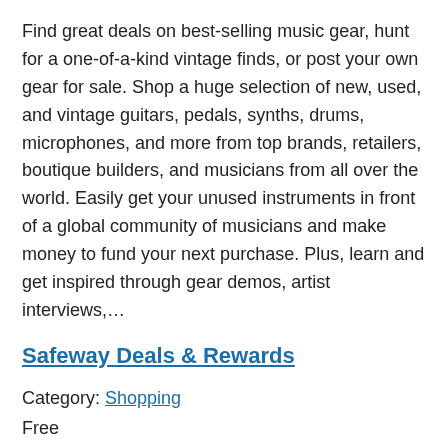Find great deals on best-selling music gear, hunt for a one-of-a-kind vintage finds, or post your own gear for sale. Shop a huge selection of new, used, and vintage guitars, pedals, synths, drums, microphones, and more from top brands, retailers, boutique builders, and musicians from all over the world. Easily get your unused instruments in front of a global community of musicians and make money to fund your next purchase. Plus, learn and get inspired through gear demos, artist interviews,…
Safeway Deals & Rewards
Category: Shopping
Free
Usability: The app is fully accessible with VoiceOver and is easy to navigate and use.